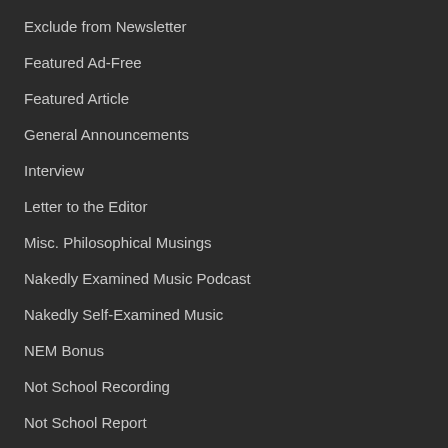Exclude from Newsletter
Featured Ad-Free
Featured Article
General Announcements
Interview
Letter to the Editor
Misc. Philosophical Musings
Nakedly Examined Music Podcast
Nakedly Self-Examined Music
NEM Bonus
Not School Recording
Not School Report
Other (i.e. Lesser) Podcasts
PEL Music